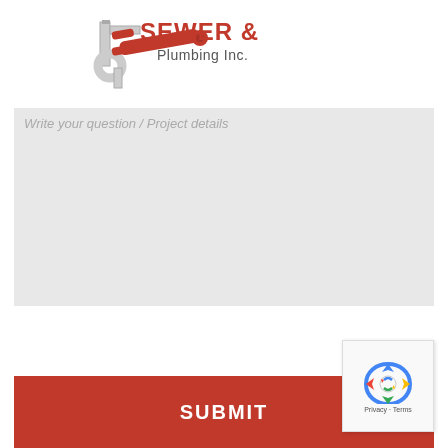[Figure (logo): JJ Sewer & Drain Plumbing Inc. logo with a pipe wrench and P-trap pipe graphic in red and grey]
Write your question / Project details
SUBMIT
[Figure (other): reCAPTCHA widget with spinning arrows logo and Privacy · Terms links]